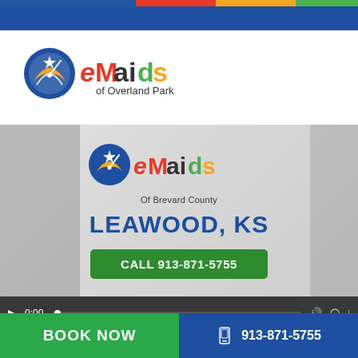[Figure (logo): eMaids of Overland Park logo in header]
[Figure (screenshot): Video thumbnail showing eMaids of Brevard County logo, text LEAWOOD KS, CALL 913-871-5755 button, and video controls at bottom]
BOOK NOW
913-871-5755